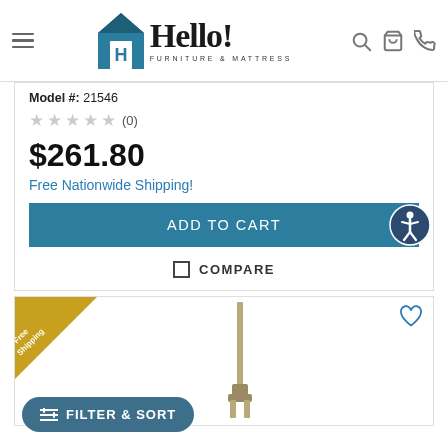Hello! Furniture & Mattress – navigation header
Model #: 21546
★★★★★ (0)
$261.80
Free Nationwide Shipping!
ADD TO CART
COMPARE
[Figure (screenshot): Product image area with Free Shipping badge and a furniture leg/pole item]
FILTER & SORT